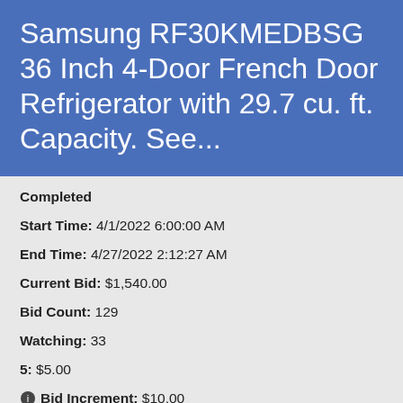Samsung RF30KMEDBSG 36 Inch 4-Door French Door Refrigerator with 29.7 cu. ft. Capacity. See...
Completed
Start Time: 4/1/2022 6:00:00 AM
End Time: 4/27/2022 2:12:27 AM
Current Bid: $1,540.00
Bid Count: 129
Watching: 33
5: $5.00
Bid Increment: $10.00